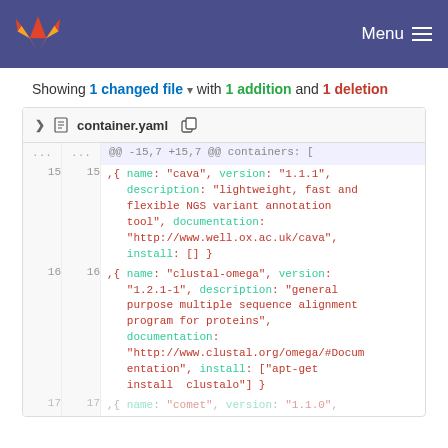GitLab header with logo and Menu button
Showing 1 changed file with 1 addition and 1 deletion
| old | new | code |
| --- | --- | --- |
| ... | ... | @@ -15,7 +15,7 @@ containers: [ |
| 15 | 15 | ,{ name: "cava", version: "1.1.1", description: "lightweight, fast and flexible NGS variant annotation tool", documentation: "http://www.well.ox.ac.uk/cava", install: [] } |
| 16 | 16 | ,{ name: "clustal-omega", version: "1.2.1-1", description: "general purpose multiple sequence alignment program for proteins", documentation: "http://www.clustal.org/omega/#Documentation", install: ["apt-get install  clustalo"] } |
| 17 | 17 | ,{ name: "comet", version: "1.1.0", |